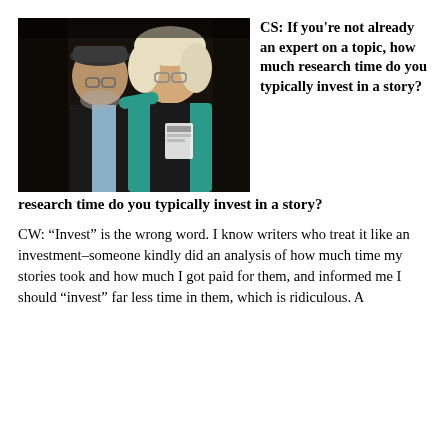[Figure (photo): Two people posing together for a photo. The person on the left wears a flat cap, glasses, and a dark vest over a light shirt with a beard. The person on the right has white-blonde hair, glasses, and wears a teal/turquoise jacket with a conference badge.]
CS: If you're not already an expert on a topic, how much research time do you typically invest in a story?
CW: “Invest” is the wrong word. I know writers who treat it like an investment–someone kindly did an analysis of how much time my stories took and how much I got paid for them, and informed me I should “invest” far less time in them, which is ridiculous. A